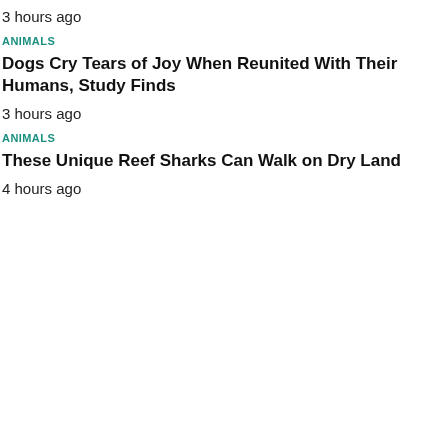3 hours ago
ANIMALS
Dogs Cry Tears of Joy When Reunited With Their Humans, Study Finds
3 hours ago
ANIMALS
These Unique Reef Sharks Can Walk on Dry Land
4 hours ago